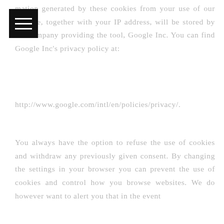[Figure (other): Black square navigation/hamburger menu icon with three white horizontal lines]
mation generated by these cookies from your use of our website, together with your IP address, will be stored by the company providing the tool, Google Inc. You can find Google Inc’s privacy policy at:
http://www.google.com/intl/en/policies/privacy/.
You always have the option to refuse the use of cookies and withdraw any previously given consent. By changing the settings in your browser you can prevent the use of cookies and control how you browse websites. We do however want to alert you that in the event